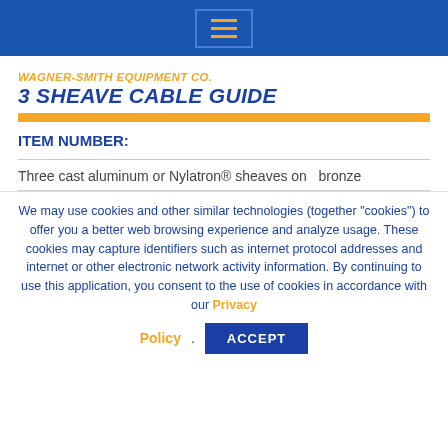Navigation menu icon (hamburger menu) on blue header bar
WAGNER-SMITH EQUIPMENT CO.
3 SHEAVE CABLE GUIDE
ITEM NUMBER:
Three cast aluminum or Nylatron® sheaves on  bronze
We may use cookies and other similar technologies (together "cookies") to offer you a better web browsing experience and analyze usage. These cookies may capture identifiers such as internet protocol addresses and internet or other electronic network activity information. By continuing to use this application, you consent to the use of cookies in accordance with our Privacy Policy.